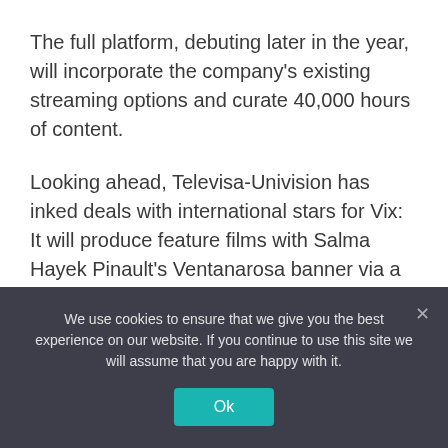The full platform, debuting later in the year, will incorporate the company's existing streaming options and curate 40,000 hours of content.
Looking ahead, Televisa-Univision has inked deals with international stars for Vix: It will produce feature films with Salma Hayek Pinault's Ventanarosa banner via a two-year first-look deal, and has first-look deals with Eugenio Derbez, Ben Odell's 3Pas Studios , Maria Dueñas, Mario Vargas Llosa, Santiago
We use cookies to ensure that we give you the best experience on our website. If you continue to use this site we will assume that you are happy with it.